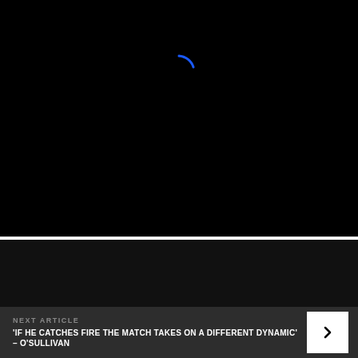[Figure (other): Black loading screen with a blue spinning arc indicator centered near the top of the frame]
[Figure (other): Dark black panel with a small blue dot in the center, part of a video player or media embed interface]
NEXT ARTICLE
'IF HE CATCHES FIRE THE MATCH TAKES ON A DIFFERENT DYNAMIC' – O'SULLIVAN